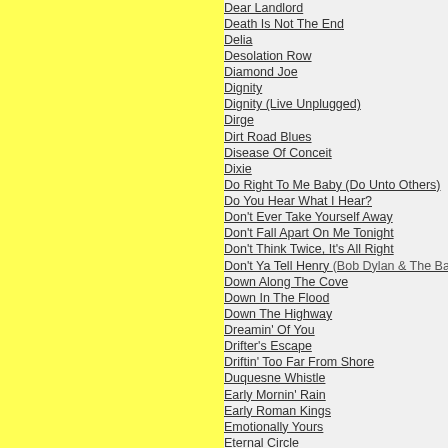Dear Landlord
Death Is Not The End
Delia
Desolation Row
Diamond Joe
Dignity
Dignity (Live Unplugged)
Dirge
Dirt Road Blues
Disease Of Conceit
Dixie
Do Right To Me Baby (Do Unto Others)
Do You Hear What I Hear?
Don't Ever Take Yourself Away
Don't Fall Apart On Me Tonight
Don't Think Twice, It's All Right
Don't Ya Tell Henry (Bob Dylan & The Band)
Down Along The Cove
Down In The Flood
Down The Highway
Dreamin' Of You
Drifter's Escape
Driftin' Too Far From Shore
Duquesne Whistle
Early Mornin' Rain
Early Roman Kings
Emotionally Yours
Eternal Circle
Every Grain Of Sand
Everything Is Broken
False Prophet
Farewell
Farewell, Angelina
Father Of Night
Final Theme
Fixin' To Die
Floater (Too Much To Ask)
Foot Of Pride